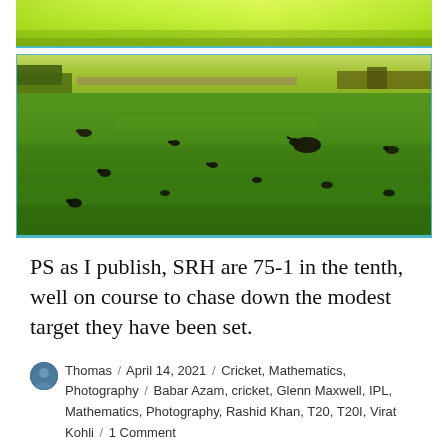[Figure (photo): Partial top strip of a bright green field/grass image, cropped at top of page]
[Figure (photo): Outdoor photograph of a green grass field with several dark birds (geese/ducks) scattered across it, with trees and park structures visible in the background]
PS as I publish, SRH are 75-1 in the tenth, well on course to chase down the modest target they have been set.
Thomas / April 14, 2021 / Cricket, Mathematics, Photography / Babar Azam, cricket, Glenn Maxwell, IPL, Mathematics, Photography, Rashid Khan, T20, T20I, Virat Kohli / 1 Comment